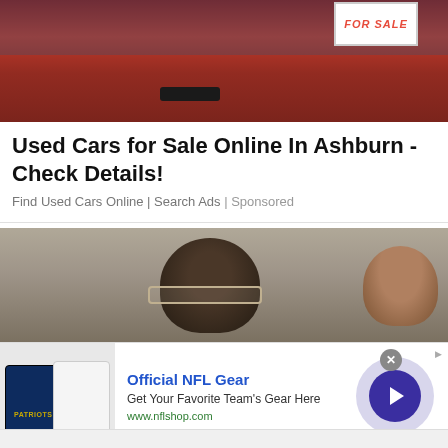[Figure (photo): Red car with a FOR SALE sign visible in the window]
Used Cars for Sale Online In Ashburn - Check Details!
Find Used Cars Online | Search Ads | Sponsored
[Figure (photo): Woman with glasses and dark hair with another person in the background]
[Figure (photo): NFL advertisement banner showing Official NFL Gear - Get Your Favorite Team's Gear Here - www.nflshop.com]